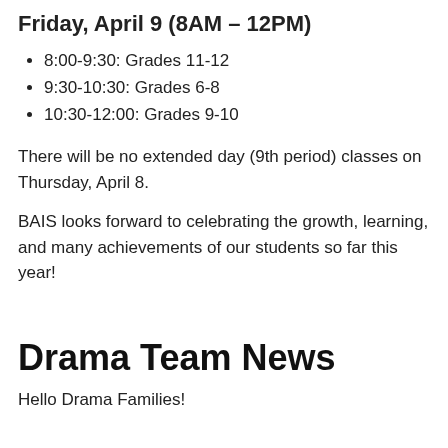Friday, April 9 (8AM – 12PM)
8:00-9:30: Grades 11-12
9:30-10:30: Grades 6-8
10:30-12:00: Grades 9-10
There will be no extended day (9th period) classes on Thursday, April 8.
BAIS looks forward to celebrating the growth, learning, and many achievements of our students so far this year!
Drama Team News
Hello Drama Families!